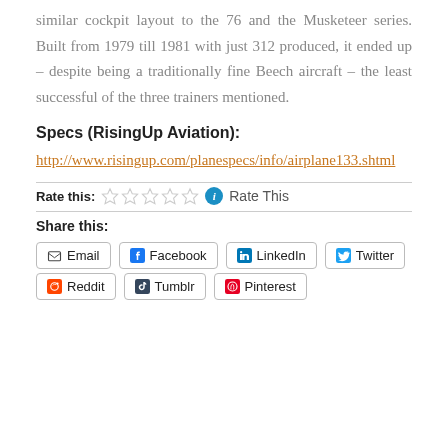similar cockpit layout to the 76 and the Musketeer series. Built from 1979 till 1981 with just 312 produced, it ended up – despite being a traditionally fine Beech aircraft – the least successful of the three trainers mentioned.
Specs (RisingUp Aviation):
http://www.risingup.com/planespecs/info/airplane133.shtml
Rate this:  Rate This
Share this:
Email  Facebook  LinkedIn  Twitter
Reddit  Tumblr  Pinterest